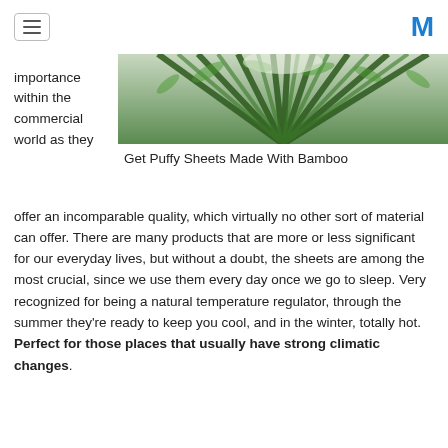[hamburger menu] [M logo]
importance within the commercial world as they
[Figure (photo): Bamboo forest viewed from below looking up, lush green bamboo stalks converging toward the sky]
Get Puffy Sheets Made With Bamboo
offer an incomparable quality, which virtually no other sort of material can offer. There are many products that are more or less significant for our everyday lives, but without a doubt, the sheets are among the most crucial, since we use them every day once we go to sleep. Very recognized for being a natural temperature regulator, through the summer they're ready to keep you cool, and in the winter, totally hot. Perfect for those places that usually have strong climatic changes.